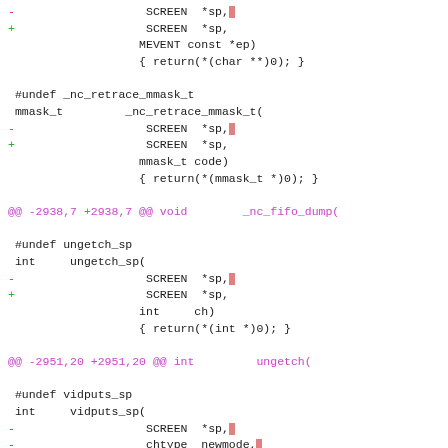[Figure (screenshot): Code diff showing changes to ncurses function signatures, removing trailing characters from SCREEN *sp, parameters across multiple function definitions including _nc_retrace_mmask_t, ungetch_sp, and vidputs_sp.]